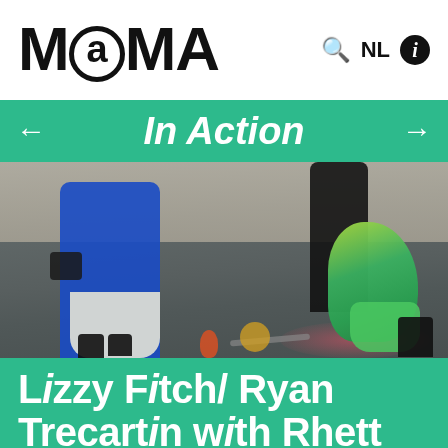MaMA
In Action
[Figure (photo): Gallery installation view showing visitors among artwork objects on the floor including a green sculptural figure, chains, and colorful items. A person in a blue coat and white skirt stands on the left; a person in black stands in the center background.]
Lizzy Fitch/ Ryan Trecartin with Rhett LaRue